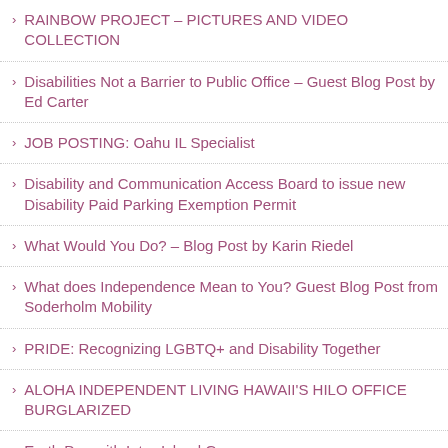RAINBOW PROJECT – PICTURES AND VIDEO COLLECTION
Disabilities Not a Barrier to Public Office – Guest Blog Post by Ed Carter
JOB POSTING: Oahu IL Specialist
Disability and Communication Access Board to issue new Disability Paid Parking Exemption Permit
What Would You Do? – Blog Post by Karin Riedel
What does Independence Mean to You? Guest Blog Post from Soderholm Mobility
PRIDE: Recognizing LGBTQ+ and Disability Together
ALOHA INDEPENDENT LIVING HAWAII'S HILO OFFICE BURGLARIZED
Earth Day with Inter-Island Group